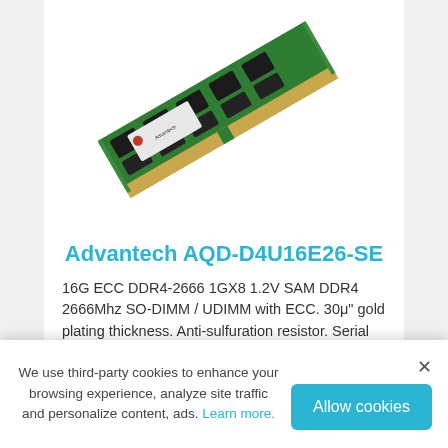[Figure (photo): A green DDR4 RAM stick (Advantech AQD-D4U16E26-SE) photographed at an angle showing chips and gold contacts, on a white background.]
Advantech AQD-D4U16E26-SE
16G ECC DDR4-2666 1GX8 1.2V SAM DDR4 2666Mhz SO-DIMM / UDIMM with ECC. 30μ" gold plating thickness. Anti-sulfuration resistor. Serial presence detect with EEPROM. Support ECC error detection and correction. 100% tested for reliability.
We use third-party cookies to enhance your browsing experience, analyze site traffic and personalize content, ads. Learn more.